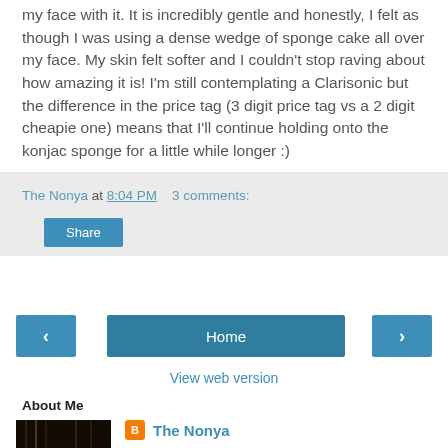my face with it. It is incredibly gentle and honestly, I felt as though I was using a dense wedge of sponge cake all over my face. My skin felt softer and I couldn't stop raving about how amazing it is! I'm still contemplating a Clarisonic but the difference in the price tag (3 digit price tag vs a 2 digit cheapie one) means that I'll continue holding onto the konjac sponge for a little while longer :)
The Nonya at 8:04 PM   3 comments:
Share
‹
Home
›
View web version
About Me
[Figure (photo): Dark photo of a person silhouetted against decorative lights]
The Nonya
A 3rd generation Nonya, a wife, a mummy, I'm passionate about food, fashion and all things beautiful in life.